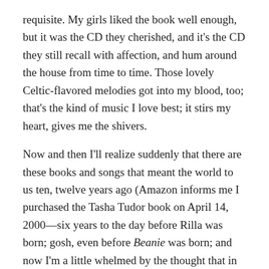requisite. My girls liked the book well enough, but it was the CD they cherished, and it's the CD they still recall with affection, and hum around the house from time to time. Those lovely Celtic-flavored melodies got into my blood, too; that's the kind of music I love best; it stirs my heart, gives me the shivers.
Now and then I'll realize suddenly that there are these books and songs that meant the world to us ten, twelve years ago (Amazon informs me I purchased the Tasha Tudor book on April 14, 2000—six years to the day before Rilla was born; gosh, even before Beanie was born; and now I'm a little whelmed by the thought that in some respects, Amazon has a better record of my family history than I do)—important to us years ago, I was saying, but my younger trio don't know them at all. It happened with Miss Rumphius (heresy!) and it happened with Child's Garden of Songs.